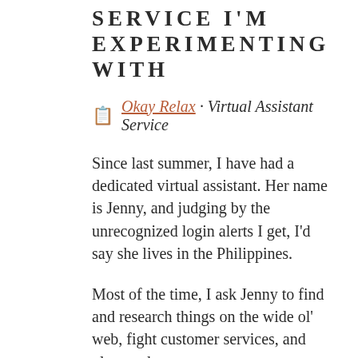SERVICE I'M EXPERIMENTING WITH
📋 Okay Relax · Virtual Assistant Service
Since last summer, I have had a dedicated virtual assistant. Her name is Jenny, and judging by the unrecognized login alerts I get, I'd say she lives in the Philippines.
Most of the time, I ask Jenny to find and research things on the wide ol' web, fight customer services, and place orders.
Right now, she's also helping me to archive my travel posts. And, indirectly